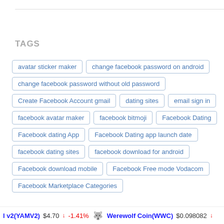TAGS
avatar sticker maker
change facebook password on android
change facebook password without old password
Create Facebook Account gmail
dating sites
email sign in
facebook avatar maker
facebook bitmoji
Facebook Dating
Facebook dating App
Facebook Dating app launch date
facebook dating sites
facebook download for android
Facebook download mobile
Facebook Free mode Vodacom
Facebook Marketplace Categories
l v2(YAMV2) $4.70 ↓ -1.41%   Werewolf Coin(WWC) $0.098082 ↓